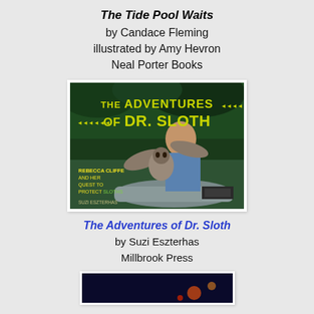The Tide Pool Waits
by Candace Fleming
illustrated by Amy Hevron
Neal Porter Books
[Figure (photo): Book cover of 'The Adventures of Dr. Sloth' by Suzi Eszterhas, showing a woman in a canoe holding a sloth, with jungle background. Title text in yellow, subtitle 'Rebecca Cliffe and her quest to protect sloths'.]
The Adventures of Dr. Sloth
by Suzi Eszterhas
Millbrook Press
[Figure (photo): Partial book cover of a third book, showing a dark background with some colored elements, partially visible at the bottom of the page.]